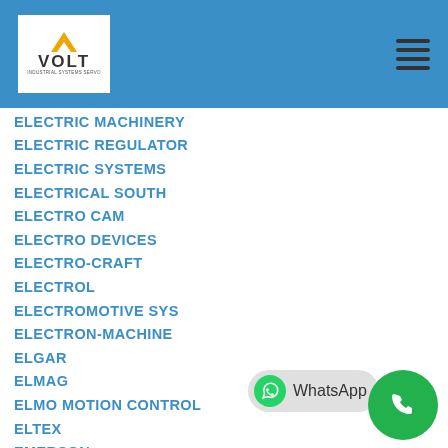[Figure (logo): VOLT Industrial Systems logo with orange V mark on white background]
ELECTRIC MACHINERY
ELECTRIC REGULATOR
ELECTRIC SYSTEMS
ELECTRICAL SOUTH
ELECTRO CAM
ELECTRO DEVICES
ELECTRO-CRAFT
ELECTROL
ELECTROMOTIVE SYS
ELECTRON-MACHINE
ELGAR
ELMAG
ELMO MOTION CONTROL
ELTEX
EMERSON
EMS INC
ENGEL
ENKEL
ENLODE
EPIC PRODUCTS